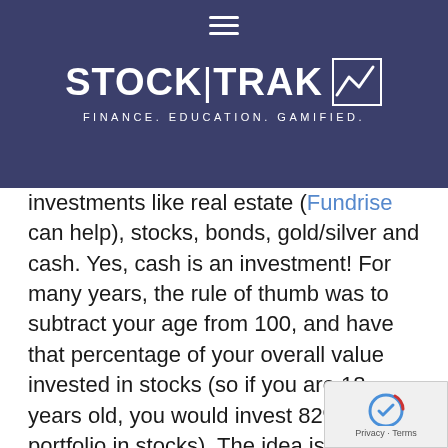STOCK|TRAK — FINANCE. EDUCATION. GAMIFIED.
investments like real estate (Fundrise can help), stocks, bonds, gold/silver and cash. Yes, cash is an investment! For many years, the rule of thumb was to subtract your age from 100, and have that percentage of your overall value invested in stocks (so if you are 18 years old, you would invest 82% of your portfolio in stocks). The idea is that over time stocks have consistently outperformed other investments so therefore the younger you are, the more you should be invested in stocks. As you get older and closer to retirement when you will rely on your investments, you have less time and you should prefer the low but consistent returns of bonds